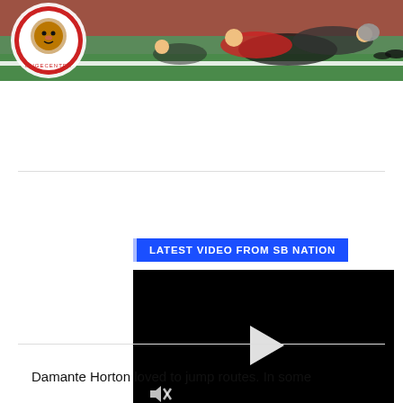[Figure (photo): Sports action photo showing football players on field, with a lion logo in upper left corner. Players appear to be in a tackling/diving situation on green turf.]
[Figure (screenshot): Video player with black background showing a white play button triangle in the center and a muted/speaker icon in the lower left corner. Label above reads 'LATEST VIDEO FROM SB NATION'.]
Damante Horton loved to jump routes. In some